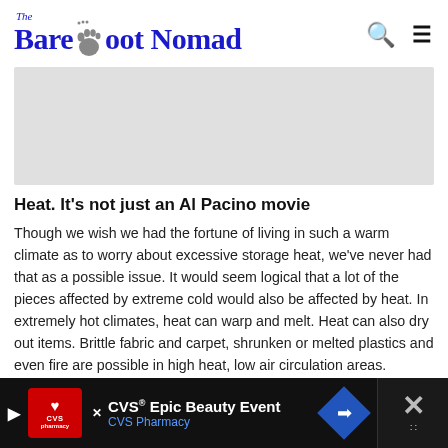The Barefoot Nomad
[Figure (illustration): Gray advertisement banner placeholder]
Heat. It's not just an Al Pacino movie
Though we wish we had the fortune of living in such a warm climate as to worry about excessive storage heat, we've never had that as a possible issue. It would seem logical that a lot of the pieces affected by extreme cold would also be affected by heat. In extremely hot climates, heat can warp and melt. Heat can also dry out items. Brittle fabric and carpet, shrunken or melted plastics and even fire are possible in high heat, low air circulation areas.
[Figure (illustration): CVS Epic Beauty Event advertisement banner at bottom of page]